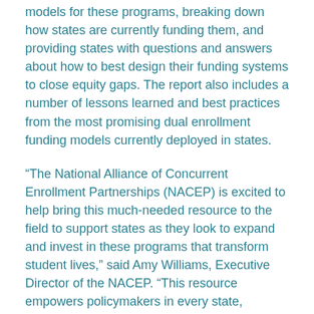models for these programs, breaking down how states are currently funding them, and providing states with questions and answers about how to best design their funding systems to close equity gaps. The report also includes a number of lessons learned and best practices from the most promising dual enrollment funding models currently deployed in states.
“The National Alliance of Concurrent Enrollment Partnerships (NACEP) is excited to help bring this much-needed resource to the field to support states as they look to expand and invest in these programs that transform student lives,” said Amy Williams, Executive Director of the NACEP. “This resource empowers policymakers in every state, whether it has a well-established funding system for dual enrollment in need of fine-tuning to ensure equity is front and center, or no current statewide program to fund dual enrollment.”
"State policy leaders have asked me countless times to point them to the 'best' dual enrollment funding model